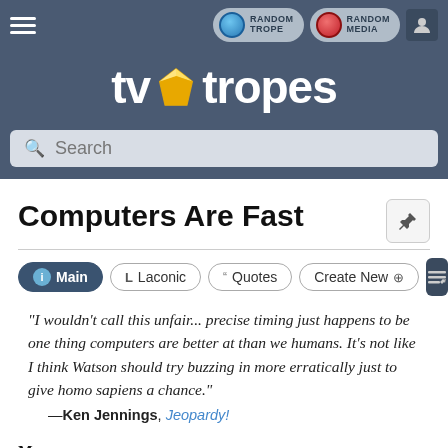TV Tropes – site header with navigation, logo, and search bar
Computers Are Fast
Main | Laconic | Quotes | Create New (tabs)
"I wouldn't call this unfair... precise timing just happens to be one thing computers are better at than we humans. It's not like I think Watson should try buzzing in more erratically just to give homo sapiens a chance." —Ken Jennings, Jeopardy!
Ma...